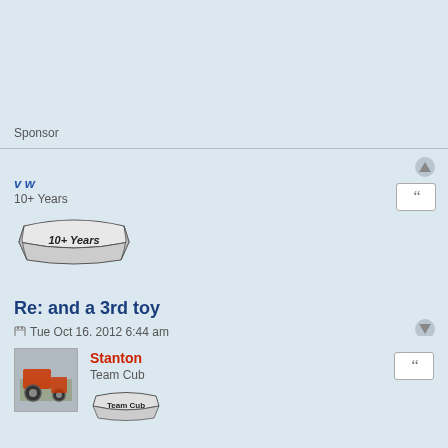Sponsor
v w
10+ Years
[Figure (illustration): 10+ Years banner badge with ribbon style graphic]
Re: and a 3rd toy
Tue Oct 16, 2012 6:44 am
I do believe I have time turning the crank on one of those to sharpen mower and combine sickle bars. On the one we had the grindstone was fixed and you moved a bracket holding the bar. Vern
[Figure (photo): Avatar photo of user Stanton showing a tractor scene]
Stanton
Team Cub
[Figure (illustration): Team Cub badge/avatar graphic]